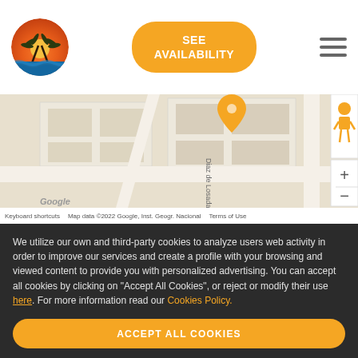[Figure (logo): Circular logo with palm trees, sunset and blue waves]
[Figure (screenshot): Orange rounded button with white bold text SEE AVAILABILITY]
[Figure (other): Hamburger menu icon with three horizontal lines]
[Figure (map): Google Maps screenshot showing street map with location pin, street name Diaz de Losada, zoom controls and Street View pegman]
Keyboard shortcuts   Map data ©2022 Google, Inst. Geogr. Nacional   Terms of Use
We utilize our own and third-party cookies to analyze users web activity in order to improve our services and create a profile with your browsing and viewed content to provide you with personalized advertising. You can accept all cookies by clicking on "Accept All Cookies", or reject or modify their use here. For more information read our Cookies Policy.
ACCEPT ALL COOKIES